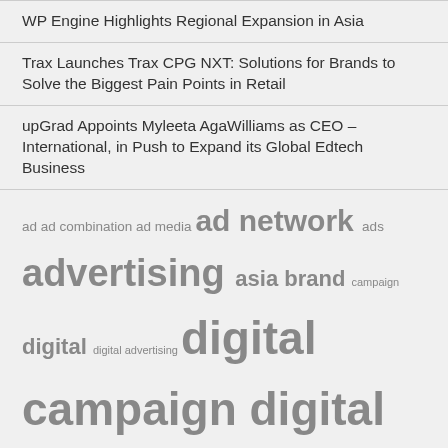WP Engine Highlights Regional Expansion in Asia
Trax Launches Trax CPG NXT: Solutions for Brands to Solve the Biggest Pain Points in Retail
upGrad Appoints Myleeta AgaWilliams as CEO – International, in Push to Expand its Global Edtech Business
ad ad combination ad media ad network ads advertising asia brand campaign digital digital advertising digital campaign digital marketing display eyeblaster Facebook flash google growth interaction interactive marketing media mediabrands media buy mobile mobile application mobile gaming mobile search new News online online advertising online marketing news asia online video social media social networking tweet twitter us video web website wpp youtube